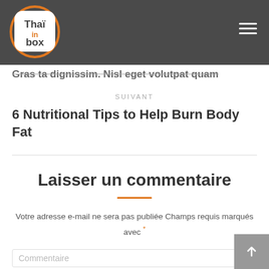Thaï in box — navigation header with logo and hamburger menu
Gras ta dignissim. Nisl eget volutpat quam
SUIVANT
6 Nutritional Tips to Help Burn Body Fat
Laisser un commentaire
Votre adresse e-mail ne sera pas publiée Champs requis marqués avec *
Commentaire